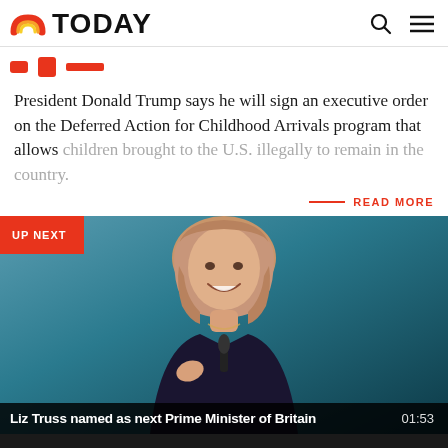TODAY
President Donald Trump says he will sign an executive order on the Deferred Action for Childhood Arrivals program that allows children brought to the U.S. illegally to remain in the country.
READ MORE
[Figure (photo): Video thumbnail of Liz Truss speaking at a podium, with teal/dark background. UP NEXT badge in top-left corner. Caption: 'Liz Truss named as next Prime Minister of Britain' with duration 01:53.]